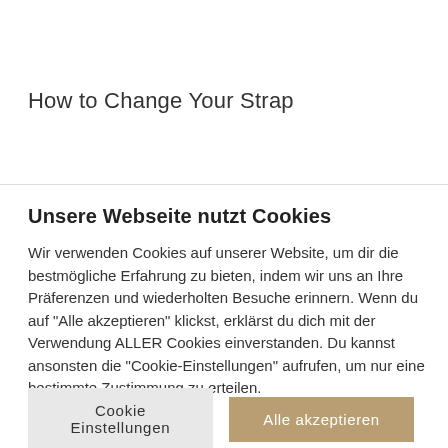How to Change Your Strap
Unsere Webseite nutzt Cookies
Wir verwenden Cookies auf unserer Website, um dir die bestmögliche Erfahrung zu bieten, indem wir uns an Ihre Präferenzen und wiederholten Besuche erinnern. Wenn du auf "Alle akzeptieren" klickst, erklärst du dich mit der Verwendung ALLER Cookies einverstanden. Du kannst ansonsten die "Cookie-Einstellungen" aufrufen, um nur eine bestimmte Zustimmung zu erteilen.
Cookie Einstellungen
Alle akzeptieren